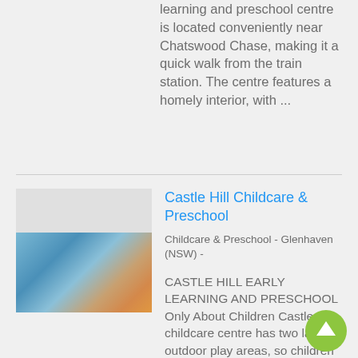learning and preschool centre is located conveniently near Chatswood Chase, making it a quick walk from the train station. The centre features a homely interior, with ...
Castle Hill Childcare & Preschool
Childcare & Preschool - Glenhaven (NSW) -
[Figure (photo): Photo of children playing with wooden blocks at a childcare centre]
CASTLE HILL EARLY LEARNING AND PRESCHOOL Only About Children Castle Hill childcare centre has two large outdoor play areas, so children have plenty of space to explore, create and lead their own play. Each dedicated area has its own sandpit and veget...